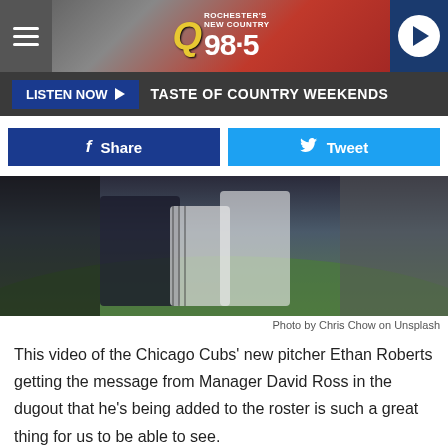Q98.5 — LISTEN NOW ▶ TASTE OF COUNTRY WEEKENDS
[Figure (photo): Baseball players in dugout, photo by Chris Chow on Unsplash]
Photo by Chris Chow on Unsplash
This video of the Chicago Cubs' new pitcher Ethan Roberts getting the message from Manager David Ross in the dugout that he's being added to the roster is such a great thing for us to be able to see.
[Figure (other): READ MORE button — on Newz Online]